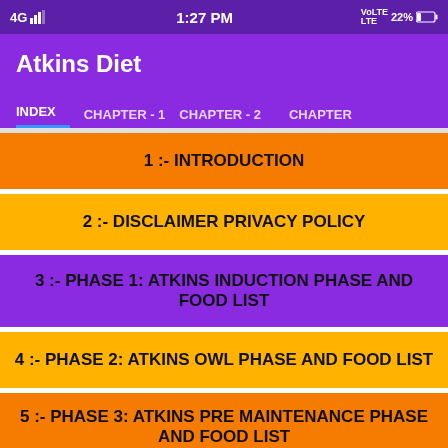4G  1:27 PM  VoLTE 22%
Atkins Diet
INDEX  CHAPTER - 1  CHAPTER - 2  CHAPTER
1 :- INTRODUCTION
2 :- DISCLAIMER PRIVACY POLICY
3 :- PHASE 1: ATKINS INDUCTION PHASE AND FOOD LIST
4 :- PHASE 2: ATKINS OWL PHASE AND FOOD LIST
5 :- PHASE 3: ATKINS PRE MAINTENANCE PHASE AND FOOD LIST